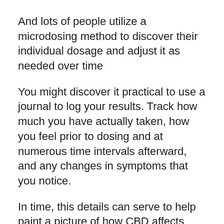And lots of people utilize a microdosing method to discover their individual dosage and adjust it as needed over time
You might discover it practical to use a journal to log your results. Track how much you have actually taken, how you feel prior to dosing and at numerous time intervals afterward, and any changes in symptoms that you notice.
In time, this details can serve to help paint a picture of how CBD affects you.
Bear in mind that it’s possible to develop a tolerance to CBD, like numerous other drugs and chemicals.